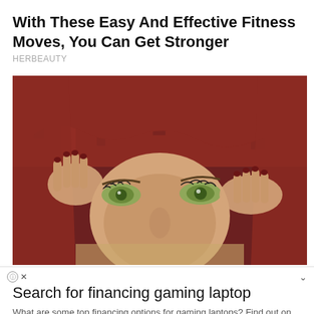With These Easy And Effective Fitness Moves, You Can Get Stronger
HERBEAUTY
[Figure (photo): Woman with green eyes partially covered by a red knitted fabric, hands visible holding the fabric, close-up portrait]
Search for financing gaming laptop
What are some top financing options for gaming laptops? Find out on Yahoo Search.
continue